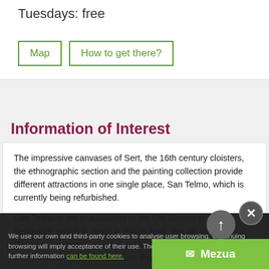Tuesdays: free
Map | How to get there?
Information of Interest
The impressive canvases of Sert, the 16th century cloisters, the ethnographic section and the painting collection provide different attractions in one single place, San Telmo, which is currently being refurbished.
San Telmo is set in a building in the Old District of San Sebastian, which is worth a visit in itself. Set up as a Dominican convent, it was used as an artillery barracks before being converted into a museum. Particularly notable are the cloisters, dating from the 16th century, and the paintings by Jose Maria S... Immersed in a large extension of the building, the museum shows the history of Gipuzkoa, combining ethnographic and
We use our own and third-party cookies to analyse user browsing. Continuing browsing will imply acceptance of their use. The settings can be changed and further information can be found here.